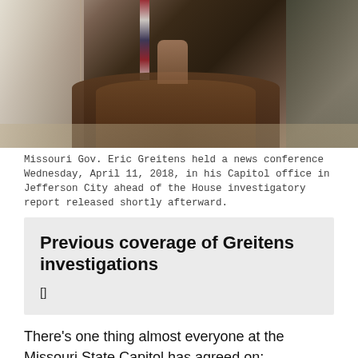[Figure (photo): Missouri Gov. Eric Greitens standing at a podium in his Capitol office, with an American flag behind him and a large ornate wooden desk in the foreground.]
Missouri Gov. Eric Greitens held a news conference Wednesday, April 11, 2018, in his Capitol office in Jefferson City ahead of the House investigatory report released shortly afterward.
Previous coverage of Greitens investigations
[]
There's one thing almost everyone at the Missouri State Capitol has agreed on: Lawmakers and the state as a whole are facing uncharted territory when it comes to discussing or considering the possibility of impeaching Gov. Eric Greitens.